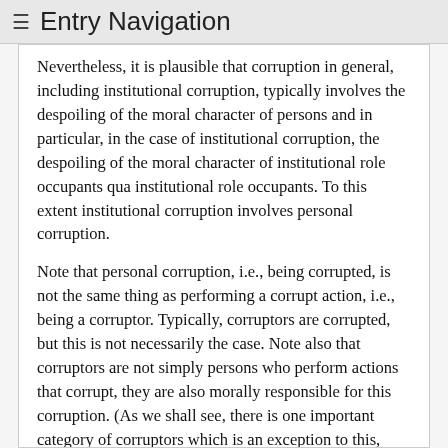≡ Entry Navigation
Nevertheless, it is plausible that corruption in general, including institutional corruption, typically involves the despoiling of the moral character of persons and in particular, in the case of institutional corruption, the despoiling of the moral character of institutional role occupants qua institutional role occupants. To this extent institutional corruption involves personal corruption.
Note that personal corruption, i.e., being corrupted, is not the same thing as performing a corrupt action, i.e., being a corruptor. Typically, corruptors are corrupted, but this is not necessarily the case. Note also that corruptors are not simply persons who perform actions that corrupt, they are also morally responsible for this corruption. (As we shall see, there is one important category of corruptors which is an exception to this, namely corruptors who are not morally responsible for being corrupted, yet whose actions are both an expression of their corrupt characters and also have a corrupting effect.) The precise nature of corruptors and their relationship to the corrupted is